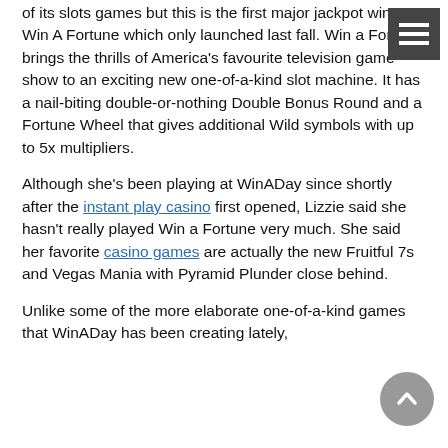of its slots games but this is the first major jackpot win on Win A Fortune which only launched last fall. Win a Fortune brings the thrills of America's favourite television game show to an exciting new one-of-a-kind slot machine. It has a nail-biting double-or-nothing Double Bonus Round and a Fortune Wheel that gives additional Wild symbols with up to 5x multipliers.
Although she's been playing at WinADay since shortly after the instant play casino first opened, Lizzie said she hasn't really played Win a Fortune very much. She said her favorite casino games are actually the new Fruitful 7s and Vegas Mania with Pyramid Plunder close behind.
Unlike some of the more elaborate one-of-a-kind games that WinADay has been creating lately,